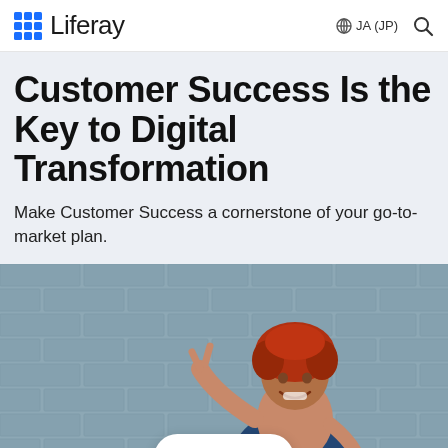Liferay  JA (JP)
Customer Success Is the Key to Digital Transformation
Make Customer Success a cornerstone of your go-to-market plan.
[Figure (photo): A smiling woman with red curly hair pointing upward, standing in front of a blue-grey brick wall, wearing a dark blue floral top. A white pill-shaped 'Menu' button is overlaid at the bottom center.]